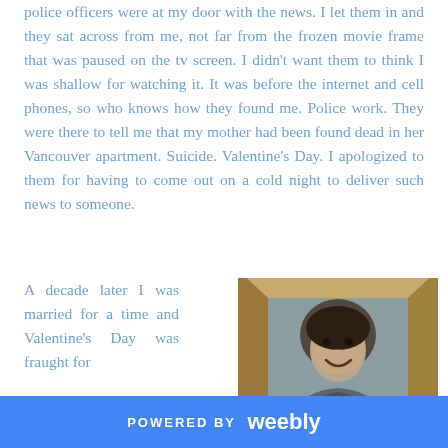police officers were at my door with the news. I let them in and they sat across from me, not far from the frozen movie frame that was paused on the tv screen. I didn't want them to think I was shallow for watching it. It was before the internet and cell phones, so who knows how they found me. Police work. They were there to tell me that my mother had been found dead in her Vancouver apartment. Suicide. Valentine's Day. I apologized to them for having to come out on a cold night to deliver such news to someone.
A decade later I was married for a time and Valentine's Day was fraught for
[Figure (photo): A black and white photograph of a smiling woman, displayed in a wooden picture frame.]
POWERED BY weebly